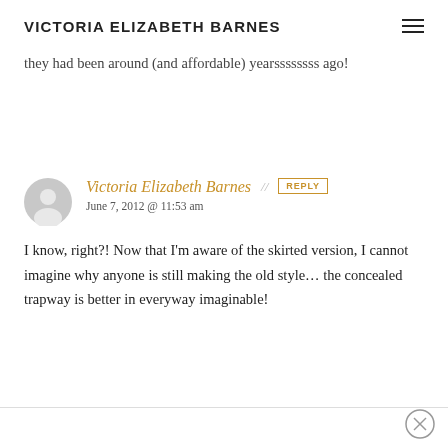VICTORIA ELIZABETH BARNES
they had been around (and affordable) yearssssssss ago!
Victoria Elizabeth Barnes
June 7, 2012 @ 11:53 am
I know, right?! Now that I'm aware of the skirted version, I cannot imagine why anyone is still making the old style… the concealed trapway is better in everyway imaginable!